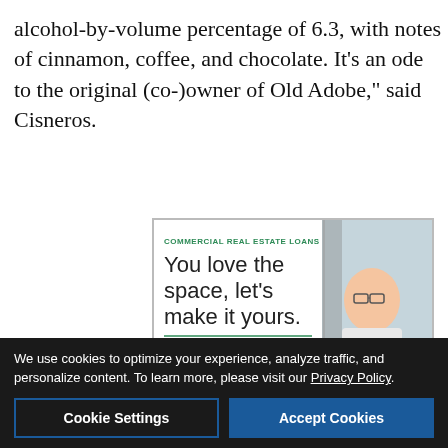alcohol-by-volume percentage of 6.3, with notes of cinnamon, coffee, and chocolate. It’s an ode to the original (co-)owner of Old Adobe,” said Cisneros.
[Figure (illustration): Advertisement for Commercial Real Estate Loans. Green heading 'COMMERCIAL REAL ESTATE LOANS', large headline 'You love the space, let’s make it yours.' with a green divider line, sub-text 'Flexible Terms Competitive Rates', and a photo of a smiling woman with glasses.]
[Figure (illustration): Banner advertisement: left section with orange text 'How do I determine if my employee’s lung funtion is safe to use a respirator?', center section with a glowing lung image, right section with Ability USA logo and 'FIND OUT MORE' button.]
We use cookies to optimize your experience, analyze traffic, and personalize content. To learn more, please visit our Privacy Policy.
Cookie Settings
Accept Cookies